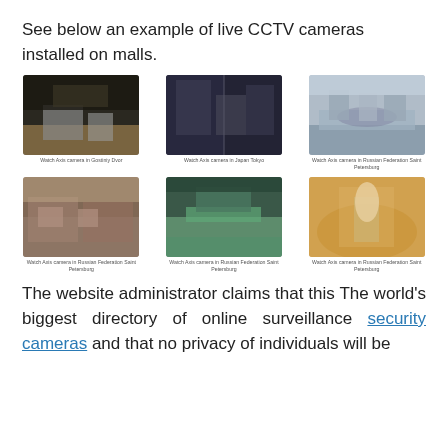See below an example of live CCTV cameras installed on malls.
[Figure (photo): Grid of 6 CCTV camera screenshots from malls, arranged in 2 rows of 3. Top row: Moscow camera at Gostiniy Dvor; Axis camera in Japan Tokyo; Axis camera in Russian Federation Saint Petersburg. Bottom row: Axis camera in Russian Federation Saint Petersburg; Axis camera in Russian Federation Saint Petersburg; Axis camera in Russian Federation Saint Petersburg.]
The website administrator claims that this The world's biggest directory of online surveillance security cameras and that no privacy of individuals will be